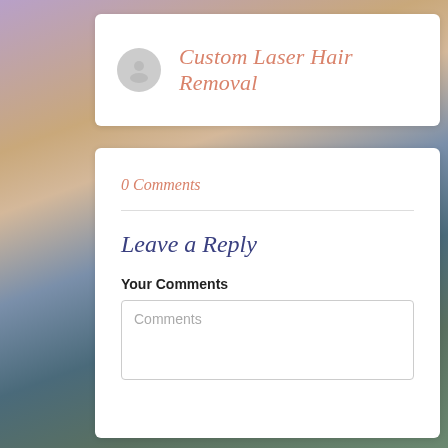Custom Laser Hair Removal
0 Comments
Leave a Reply
Your Comments
Comments